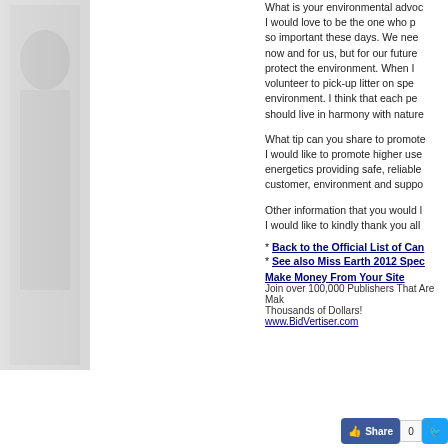[Figure (photo): Partial image of a person on the left side of the page, grayscale/faded]
What is your environmental advoc... I would love to be the one who p... so important these days. We nee... now and for us, but for our future... protect the environment. When I... volunteer to pick-up litter on spe... environment. I think that each pe... should live in harmony with nature...
What tip can you share to promote... I would like to promote higher use... energetics providing safe, reliable... customer, environment and suppo...
Other information that you would l... I would like to kindly thank you all...
* Back to the Official List of Can...
* See also Miss Earth 2012 Spec...
Make Money From Your Site
Join over 100,000 Publishers That Are Mak...
Thousands of Dollars!
www.BidVertiser.com